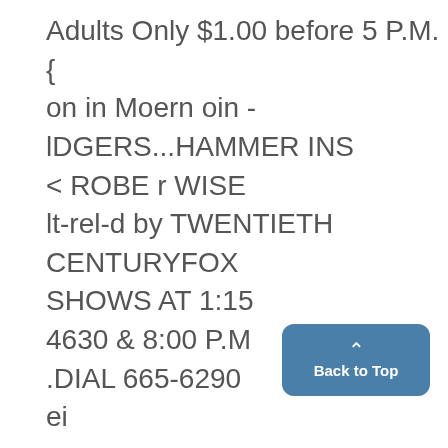Adults Only $1.00 before 5 P.M. {
on in Moern oin -
lDGERS...HAMMER INS
&lt; ROBE r WISE
lt-rel-d by TWENTIETH CENTURYFOX
SHOWS AT 1:15
4630 & 8:00 P.M
.DIAL 665-6290
ei

l

cinem1a guild
PRESENTS